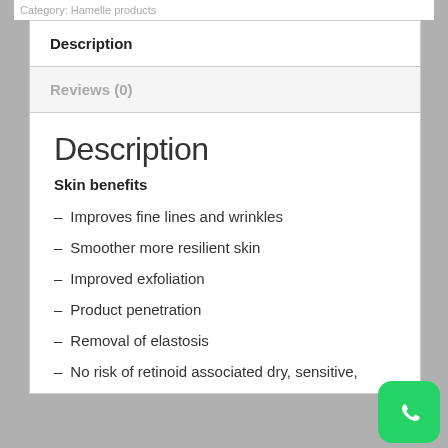Category: Hamelle products
Description
Reviews (0)
Description
Skin benefits
Improves fine lines and wrinkles
Smoother more resilient skin
Improved exfoliation
Product penetration
Removal of elastosis
No risk of retinoid associated dry, sensitive,